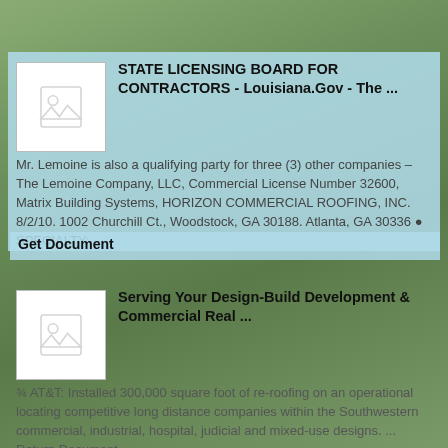STATE LICENSING BOARD FOR CONTRACTORS - Louisiana.Gov - The ...
Mr. Lemoine is also a qualifying party for three (3) other companies – The Lemoine Company, LLC, Commercial License Number 32600, Matrix Building Systems, HORIZON COMMERCIAL ROOFING, INC. 8/2/10. 1002 Churchill Ct., Woodstock, GA 30188. Atlanta, GA 30336 ● SPECIALTY: ...
Get Document
Serving Your Design-Build Development & Commercial Real ...
¾ AT&T: Installed 300,000 square foot of re-roofing on an operational locating competitive long distance companies within the Southwestern commercial, industrial, hospital, judicial and mixed-use designs. ... Return Document